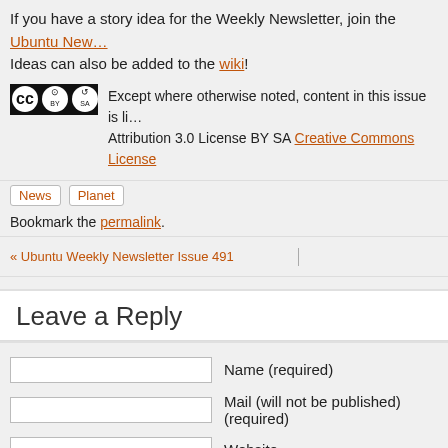If you have a story idea for the Weekly Newsletter, join the Ubuntu New… Ideas can also be added to the wiki!
[Figure (logo): Creative Commons BY SA logo]
Except where otherwise noted, content in this issue is li… Attribution 3.0 License BY SA Creative Commons License
News
Planet
Bookmark the permalink.
« Ubuntu Weekly Newsletter Issue 491
Leave a Reply
Name (required)
Mail (will not be published) (required)
Website